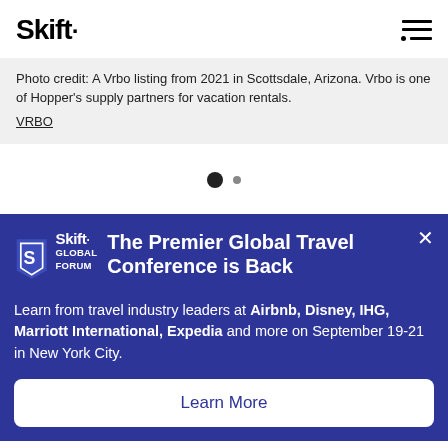Skift
Photo credit: A Vrbo listing from 2021 in Scottsdale, Arizona. Vrbo is one of Hopper's supply partners for vacation rentals. VRBO
[Figure (other): Carousel dot indicators: one filled large dot and one small grey dot]
[Figure (other): Skift Global Forum promotional banner with logo, headline, body text, and Learn More button]
The Premier Global Travel Conference is Back
Learn from travel industry leaders at Airbnb, Disney, IHG, Marriott International, Expedia and more on September 19-21 in New York City.
Learn More